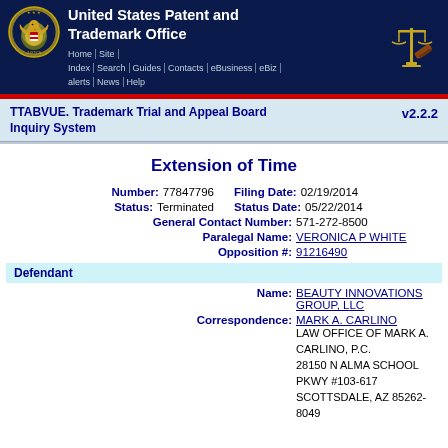United States Patent and Trademark Office | Home | Site Index | Search | Guides | Contacts | eBusiness | eBiz alerts | News | Help
TTABVUE. Trademark Trial and Appeal Board Inquiry System v2.2.2
Extension of Time
Number: 77847796 | Filing Date: 02/19/2014 | Status: Terminated | Status Date: 05/22/2014 | General Contact Number: 571-272-8500 | Paralegal Name: VERONICA P WHITE | Opposition #: 91216490
Defendant
Name: BEAUTY INNOVATIONS GROUP, LLC | Correspondence: MARK A. CARLINO | LAW OFFICE OF MARK A. CARLINO, P.C. | 28150 N ALMA SCHOOL PKWY #103-617 | SCOTTSDALE, AZ 85262-8049